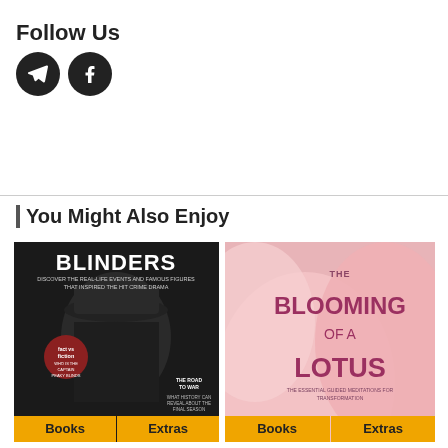Follow Us
[Figure (illustration): Two social media icons: Telegram and Facebook, circular black icons]
You Might Also Enjoy
[Figure (photo): Book cover: BLINDERS - Discover the real-life events and famous figures that inspired the hit crime drama, with Books and Extras buttons]
[Figure (photo): Book cover: The Blooming of a Lotus - The essential guided meditations for transformation, with Books and Extras buttons]